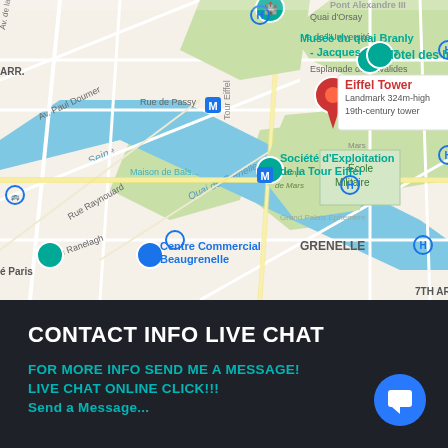[Figure (map): Google Maps screenshot showing the area around the Eiffel Tower in Paris, France. Visible landmarks include Place du Trocadéro, Musée du quai Branly - Jacques Chirac, Hôtel des Invalides, Société d'Exploitation de la Tour Eiffel, École Militaire, UNESCO, Centre Commercial Beaugrenelle, and the Seine river. The Eiffel Tower is marked with a red location pin and labeled 'Eiffel Tower - Landmark 324m-high 19th-century tower'.]
CONTACT INFO LIVE CHAT
FOR MORE INFO SEND ME A MESSAGE!
LIVE CHAT ONLINE CLICK!!!
Send a Message...